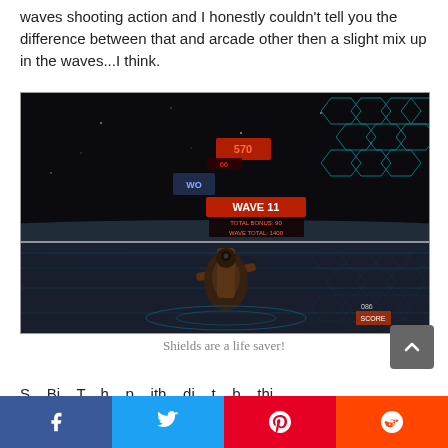waves shooting action and I honestly couldn't tell you the difference between that and arcade other then a slight mix up in the waves...I think.
[Figure (screenshot): In-game screenshot of a VR space/arcade shooter showing a dark environment with hexagonal grid patterns, a gun controller in hand, and HUD elements displaying score and wave information (WAVE 11, TOTAL BONUS: 90, WAVE TOTAL: 1400)]
Shields are a life saver!
S... Bit... T... h... p... ith... di... t... b... thi...